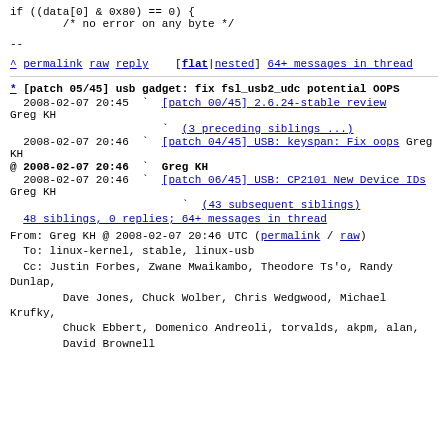if ((data[0] & 0x80) == 0) {
        /* no error on any byte */
--
^ permalink raw reply   [flat|nested] 64+ messages in thread
* [patch 05/45] usb gadget: fix fsl_usb2_udc potential OOPS
2008-02-07 20:45   [patch 00/45] 2.6.24-stable review Greg KH
(3 preceding siblings ...)
2008-02-07 20:46   [patch 04/45] USB: keyspan: Fix oops Greg KH
@ 2008-02-07 20:46   Greg KH
2008-02-07 20:46   [patch 06/45] USB: CP2101 New Device IDs Greg KH
(43 subsequent siblings)
48 siblings, 0 replies; 64+ messages in thread
From: Greg KH @ 2008-02-07 20:46 UTC (permalink / raw)
  To: linux-kernel, stable, linux-usb
  Cc: Justin Forbes, Zwane Mwaikambo, Theodore Ts'o, Randy Dunlap,
          Dave Jones, Chuck Wolber, Chris Wedgwood, Michael Krufky,
          Chuck Ebbert, Domenico Andreoli, torvalds, akpm, alan,
          David Brownell